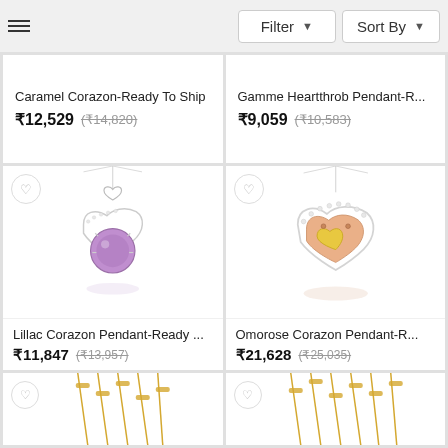Filter | Sort By
Caramel Corazon-Ready To Ship
₹12,529 (₹14,820)
Gamme Heartthrob Pendant-R...
₹9,059 (₹10,583)
[Figure (photo): Silver pendant with heart shape and purple amethyst gemstone, shown on chain with reflection]
Lillac Corazon Pendant-Ready ...
₹11,847 (₹13,957)
[Figure (photo): Rose gold and white gold triple heart pendant with diamonds and yellow center heart, shown on chain with reflection]
Omorose Corazon Pendant-R...
₹21,628 (₹25,035)
[Figure (photo): Gold pendant on chain, partially visible at bottom of page]
[Figure (photo): Gold pendant on chain, partially visible at bottom of page]